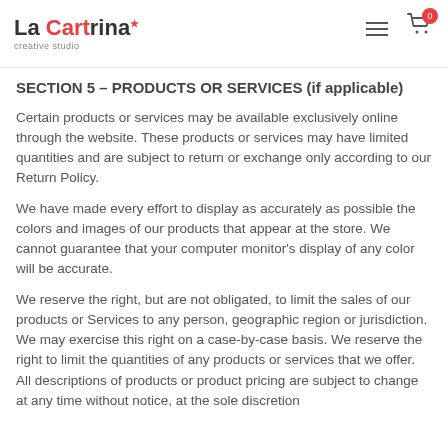La Cartrina creative studio
SECTION 5 – PRODUCTS OR SERVICES (if applicable)
Certain products or services may be available exclusively online through the website. These products or services may have limited quantities and are subject to return or exchange only according to our Return Policy.
We have made every effort to display as accurately as possible the colors and images of our products that appear at the store. We cannot guarantee that your computer monitor's display of any color will be accurate.
We reserve the right, but are not obligated, to limit the sales of our products or Services to any person, geographic region or jurisdiction. We may exercise this right on a case-by-case basis. We reserve the right to limit the quantities of any products or services that we offer. All descriptions of products or product pricing are subject to change at any time without notice, at the sole discretion